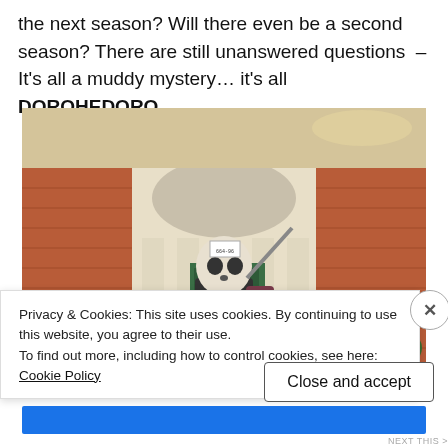the next season? Will there even be a second season? There are still unanswered questions – It's all a muddy mystery… it's all DOROHEDORO.
[Figure (screenshot): Anime screenshot from DOROHEDORO showing a character wearing a skull mask with arms outstretched in front of a building with columns and a green door.]
Privacy & Cookies: This site uses cookies. By continuing to use this website, you agree to their use.
To find out more, including how to control cookies, see here: Cookie Policy
Close and accept